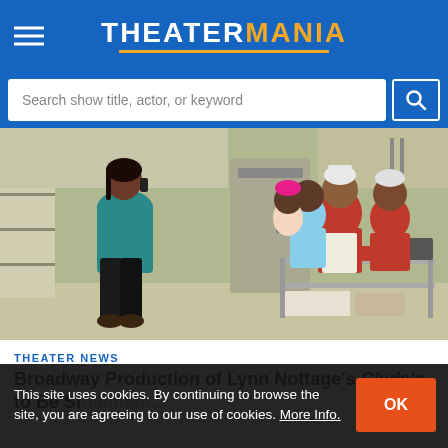THEATERMANIA
Search show title, actor, or keyword
[Figure (photo): Stage production photo showing actors in a restaurant kitchen setting. A woman in a teal blouse and black leather pants stands on the left, while a group of kitchen workers in aprons and uniforms gather on the right around a metal prep cart.]
THEATER NEWS
Broadway Production of Lynn Nottage's Clyde's to Be Streamed…
This site uses cookies. By continuing to browse the site, you are agreeing to our use of cookies. More Info.